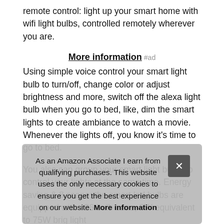remote control: light up your smart home with wifi light bulbs, controlled remotely wherever you are.
More information #ad
Using simple voice control your smart light bulb to turn/off, change color or adjust brightness and more, switch off the alexa light bulb when you go to bed, like, dim the smart lights to create ambiance to watch a movie. Whenever the lights off, you know it's time to go to bed.
You also can group your smart light bulbs to control your lights at the same time. Energy saving & 8 scene: the smart led bulbs are equipped with e26 bulb base, 8W equivalent to 75W bright, light, suits, Hollywood smart light bulbs and easily to control with one tap via
As an Amazon Associate I earn from qualifying purchases. This website uses the only necessary cookies to ensure you get the best experience on our website. More information